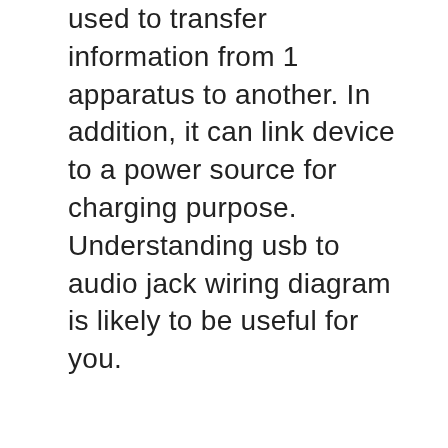used to transfer information from 1 apparatus to another. In addition, it can link device to a power source for charging purpose. Understanding usb to audio jack wiring diagram is likely to be useful for you.